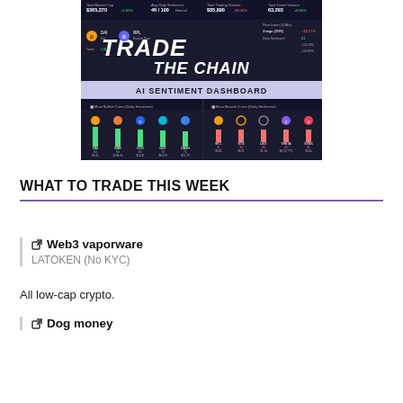[Figure (screenshot): Trade The Chain AI Sentiment Dashboard screenshot showing crypto market data, sentiment scores, bullish and bearish coins with bar charts.]
WHAT TO TRADE THIS WEEK
Web3 vaporware
LATOKEN (No KYC)
All low-cap crypto.
Dog money